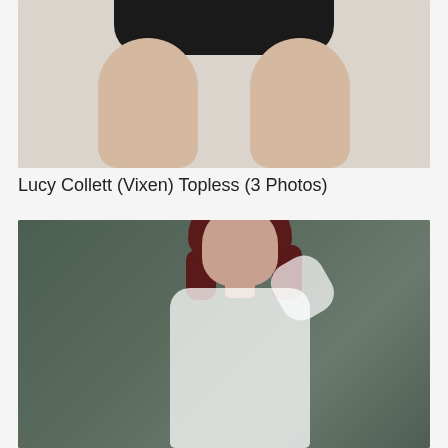[Figure (photo): Cropped lower body photo of a person wearing black underwear/swimwear, showing legs against a light background]
Lucy Collett (Vixen) Topless (3 Photos)
[Figure (photo): Full body photo of a woman with dark red hair wearing a white lace/crochet long-sleeve top, posed against a dark grey-green background with one hand raised to her head]